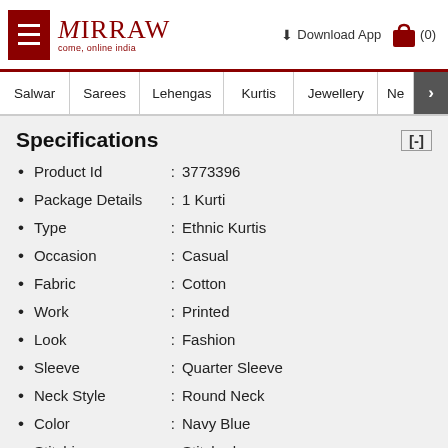Mirraw — come, online india | Download App | (0)
Salwar | Sarees | Lehengas | Kurtis | Jewellery | Ne >
Specifications [-]
Product Id : 3773396
Package Details : 1 Kurti
Type : Ethnic Kurtis
Occasion : Casual
Fabric : Cotton
Work : Printed
Look : Fashion
Sleeve : Quarter Sleeve
Neck Style : Round Neck
Color : Navy Blue
Stitching : Stitched
Length : 45.0